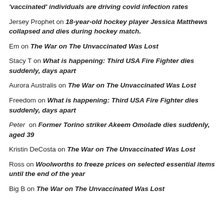'vaccinated' individuals are driving covid infection rates
Jersey Prophet on 18-year-old hockey player Jessica Matthews collapsed and dies during hockey match.
Em on The War on The Unvaccinated Was Lost
Stacy T on What is happening: Third USA Fire Fighter dies suddenly, days apart
Aurora Australis on The War on The Unvaccinated Was Lost
Freedom on What is happening: Third USA Fire Fighter dies suddenly, days apart
Peter on Former Torino striker Akeem Omolade dies suddenly, aged 39
Kristin DeCosta on The War on The Unvaccinated Was Lost
Ross on Woolworths to freeze prices on selected essential items until the end of the year
Big B on The War on The Unvaccinated Was Lost